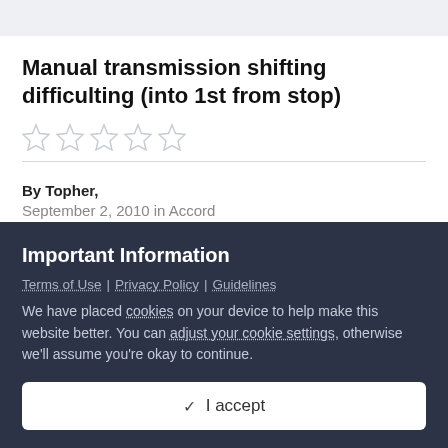Manual transmission shifting difficulting (into 1st from stop)
[Figure (other): Five empty/unfilled star rating icons in a row]
By Topher,
September 2, 2010 in Accord
Important Information
Terms of Use | Privacy Policy | Guidelines
We have placed cookies on your device to help make this website better. You can adjust your cookie settings, otherwise we'll assume you're okay to continue.
✓  I accept